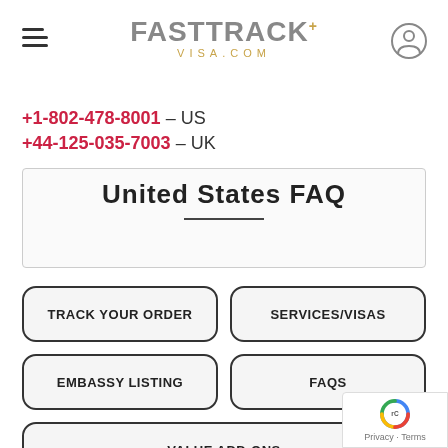FastTrack+ VISA.COM — navigation header
+1-802-478-8001 – US
+44-125-035-7003 – UK
United States FAQ
TRACK YOUR ORDER
SERVICES/VISAS
EMBASSY LISTING
FAQs
VALUE ADD-ONS